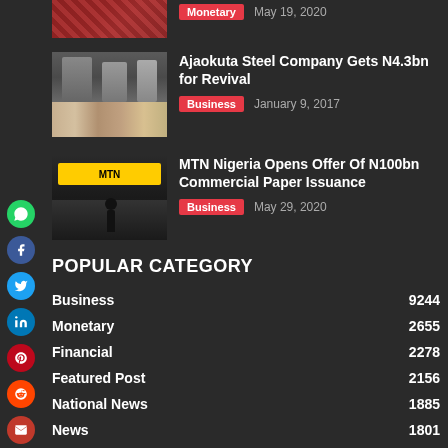[Figure (photo): Partial image of article with Monetary tag, cropped at top]
Monetary  May 19, 2020
[Figure (photo): Industrial steel plant interior with pipes and machinery]
Ajaokuta Steel Company Gets N4.3bn for Revival
Business  January 9, 2017
[Figure (photo): MTN Nigeria store exterior with yellow signage and person silhouette]
MTN Nigeria Opens Offer Of N100bn Commercial Paper Issuance
Business  May 29, 2020
POPULAR CATEGORY
Business  9244
Monetary  2655
Financial  2278
Featured Post  2156
National News  1885
News  1801